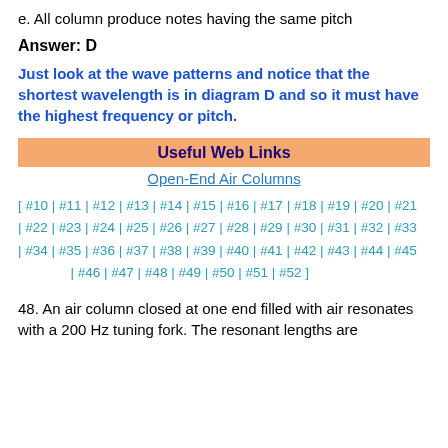e. All column produce notes having the same pitch
Answer: D
Just look at the wave patterns and notice that the shortest wavelength is in diagram D and so it must have the highest frequency or pitch.
Useful Web Links
Open-End Air Columns
[ #10 | #11 | #12 | #13 | #14 | #15 | #16 | #17 | #18 | #19 | #20 | #21 | #22 | #23 | #24 | #25 | #26 | #27 | #28 | #29 | #30 | #31 | #32 | #33 | #34 | #35 | #36 | #37 | #38 | #39 | #40 | #41 | #42 | #43 | #44 | #45 | #46 | #47 | #48 | #49 | #50 | #51 | #52 ]
48. An air column closed at one end filled with air resonates with a 200 Hz tuning fork. The resonant lengths are